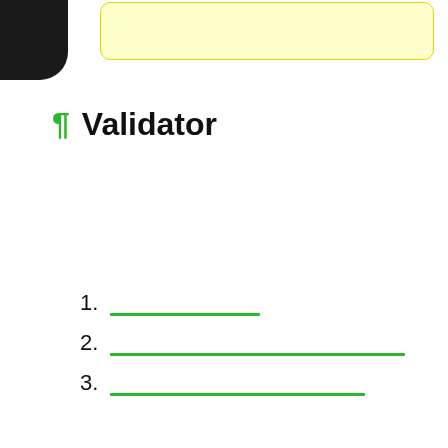¶ Validator
1. ___________
2. _________________________
3. ______________________